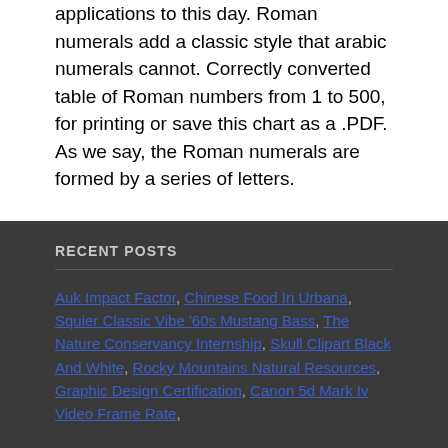applications to this day. Roman numerals add a classic style that arabic numerals cannot. Correctly converted table of Roman numbers from 1 to 500, for printing or save this chart as a .PDF. As we say, the Roman numerals are formed by a series of letters.
RECENT POSTS
Auk Impact Factor, Chinese Food In Urbana, Squier Classic Vibe '60s Mustang Bass, The Nature Conservancy Internship, Skull Clipart Black And White, Rocky Mountains Natural Resources, Graphic Design Certification, Canon 5d Mark Iv Video Frame Rate,
roman numerals 500 to 1000 chart 2020